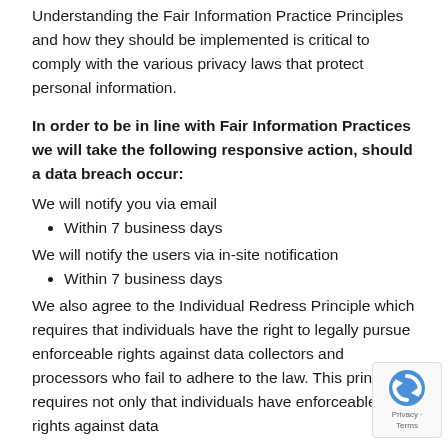Understanding the Fair Information Practice Principles and how they should be implemented is critical to comply with the various privacy laws that protect personal information.
In order to be in line with Fair Information Practices we will take the following responsive action, should a data breach occur:
We will notify you via email
Within 7 business days
We will notify the users via in-site notification
Within 7 business days
We also agree to the Individual Redress Principle which requires that individuals have the right to legally pursue enforceable rights against data collectors and processors who fail to adhere to the law. This principle requires not only that individuals have enforceable rights against data